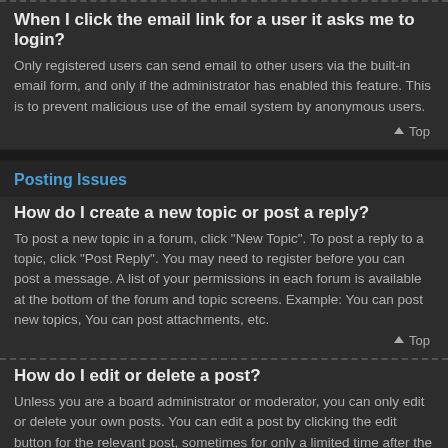When I click the email link for a user it asks me to login?
Only registered users can send email to other users via the built-in email form, and only if the administrator has enabled this feature. This is to prevent malicious use of the email system by anonymous users.
⬆ Top
Posting Issues
How do I create a new topic or post a reply?
To post a new topic in a forum, click "New Topic". To post a reply to a topic, click "Post Reply". You may need to register before you can post a message. A list of your permissions in each forum is available at the bottom of the forum and topic screens. Example: You can post new topics, You can post attachments, etc.
⬆ Top
How do I edit or delete a post?
Unless you are a board administrator or moderator, you can only edit or delete your own posts. You can edit a post by clicking the edit button for the relevant post, sometimes for only a limited time after the post was made. If someone has already replied to the post, you will find a small piece of text output below the post when you return to the topic which lists